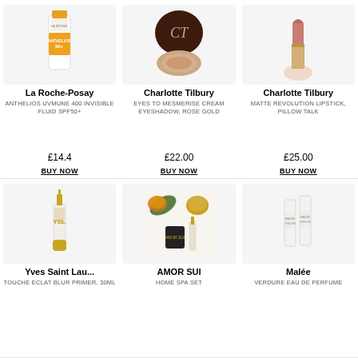[Figure (photo): La Roche-Posay Anthelios sunscreen bottle with orange cap and label showing SPF50+]
La Roche-Posay
ANTHELIOS UVMUNE 400 INVISIBLE FLUID SPF50+
£14.4
BUY NOW
[Figure (photo): Charlotte Tilbury Eyes to Mesmerise cream eyeshadow in rose gold, open compact showing shimmer texture]
Charlotte Tilbury
EYES TO MESMERISE CREAM EYESHADOW, ROSE GOLD
£22.00
BUY NOW
[Figure (photo): Charlotte Tilbury Matte Revolution lipstick in Pillow Talk shade held by fingers]
Charlotte Tilbury
MATTE REVOLUTION LIPSTICK, PILLOW TALK
£25.00
BUY NOW
[Figure (photo): Yves Saint Laurent Touche Eclat Blur Primer 30ml in tall glass bottle with gold cap]
Yves Saint Lau...
TOUCHE ECLAT BLUR PRIMER, 30ML
[Figure (photo): Amor Sui Home Spa Set with candles, jars and oil bottles arranged with green leaf]
AMOR SUI
HOME SPA SET
[Figure (photo): Malée Verdure Eau de Perfume two slim white tubes/bottles]
Malée
VERDURE EAU DE PERFUME